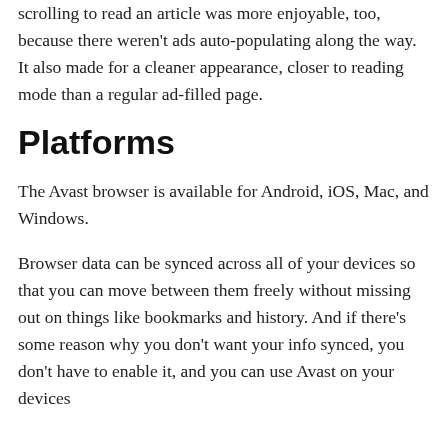scrolling to read an article was more enjoyable, too, because there weren't ads auto-populating along the way. It also made for a cleaner appearance, closer to reading mode than a regular ad-filled page.
Platforms
The Avast browser is available for Android, iOS, Mac, and Windows.
Browser data can be synced across all of your devices so that you can move between them freely without missing out on things like bookmarks and history. And if there's some reason why you don't want your info synced, you don't have to enable it, and you can use Avast on your devices